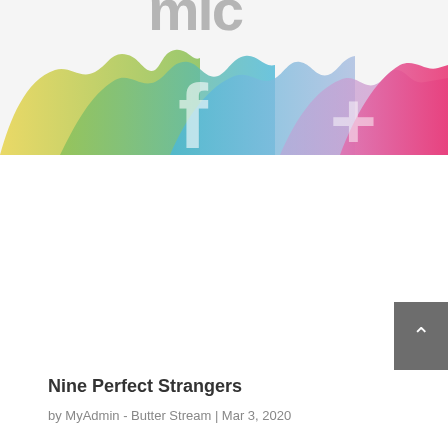[Figure (illustration): Colorful smoke waves banner with partial website logo text visible at top. Smoke swirls in yellow, green, blue, purple, and pink/magenta colors across the banner. Partial white letter shapes visible.]
Nine Perfect Strangers
by MyAdmin - Butter Stream | Mar 3, 2020